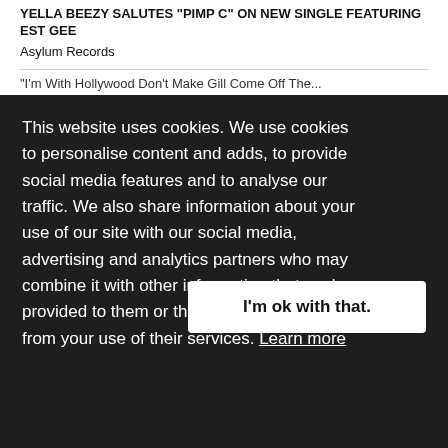YELLA BEEZY SALUTES "PIMP C" ON NEW SINGLE FEATURING EST GEE
Asylum Records
This website uses cookies. We use cookies to personalise content and adds, to provide social media features and to analyse our traffic. We also share information about your use of our site with our social media, advertising and analytics partners who may combine it with other information that you've provided to them or that they've collected from your use of their services. Learn more
I'm ok with that.
The Countdown Is On - Disney's "Hocus Pocus 2" Debuts One